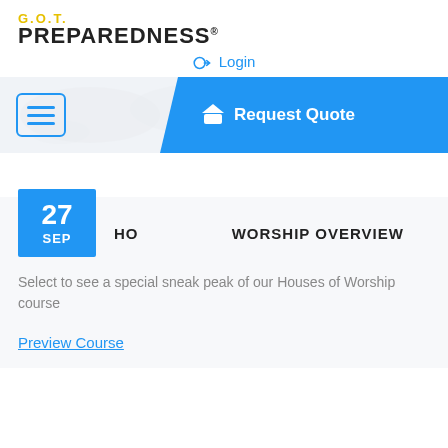[Figure (logo): G.O.T. Preparedness logo with yellow G.O.T. text and black PREPAREDNESS text]
Login
[Figure (screenshot): Navigation bar with hamburger menu button and blue Request Quote button with graduation cap icon on world map background]
HOUSES OF WORSHIP OVERVIEW
Select to see a special sneak peak of our Houses of Worship course
Preview Course